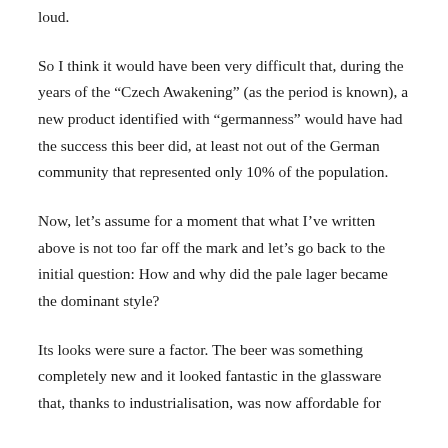loud.
So I think it would have been very difficult that, during the years of the "Czech Awakening" (as the period is known), a new product identified with "germanness" would have had the success this beer did, at least not out of the German community that represented only 10% of the population.
Now, let's assume for a moment that what I've written above is not too far off the mark and let's go back to the initial question: How and why did the pale lager became the dominant style?
Its looks were sure a factor. The beer was something completely new and it looked fantastic in the glassware that, thanks to industrialisation, was now affordable for